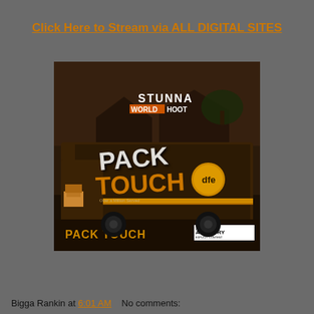Click Here to Stream via ALL DIGITAL SITES
[Figure (illustration): Album cover art for 'Pack Touch' by Stunna World Hoot. Shows a brown UPS-style delivery truck with graffiti-style text reading 'Pack Touch' and 'dfe' logo. Artists name 'STUNNA WORLD HOOT' at top. Bottom shows 'PACK TOUCH' text and Parental Advisory label.]
Bigga Rankin at 6:01 AM    No comments: